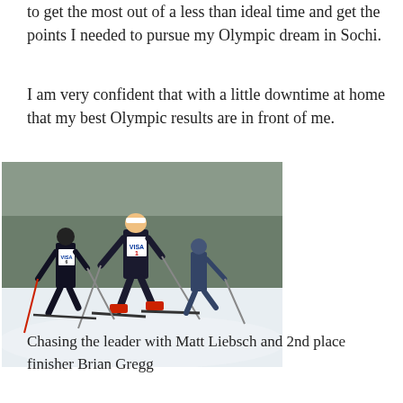to get the most out of a less than ideal time and get the points I needed to pursue my Olympic dream in Sochi.
I am very confident that with a little downtime at home that my best Olympic results are in front of me.
[Figure (photo): Cross-country skiers racing, with the lead skier wearing a VISA bib number 1, followed by two competitors including Matt Liebsch wearing VISA bib number 6, on a snowy course with trees in the background.]
Chasing the leader with Matt Liebsch and 2nd place finisher Brian Gregg